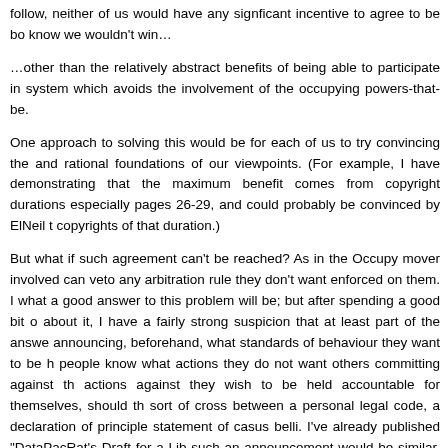follow, neither of us would have any signficant incentive to agree to be bo know we wouldn't win…
…other than the relatively abstract benefits of being able to participate in system which avoids the involvement of the occupying powers-that-be.
One approach to solving this would be for each of us to try convincing the and rational foundations of our viewpoints. (For example, I have demonstrating that the maximum benefit comes from copyright durations especially pages 26-29, and could probably be convinced by ElNeil t copyrights of that duration.)
But what if such agreement can't be reached? As in the Occupy mover involved can veto any arbitration rule they don't want enforced on them. I what a good answer to this problem will be; but after spending a good bit o about it, I have a fairly strong suspicion that at least part of the answe announcing, beforehand, what standards of behaviour they want to be h people know what actions they do not want others committing against th actions against they wish to be held accountable for themselves, should th sort of cross between a personal legal code, a declaration of principle statement of casus belli. I've already published "DataPacRat's Draft for a Lib such an announcement would be similar, only going into more detail, arbitrator would be able to read it and apply it against the announcer, shou might also be useful to include additional details such as standards of recompense, and what should be done when someone has provided very s their behaviour that they are likely to infringe on someone's rights in the futu